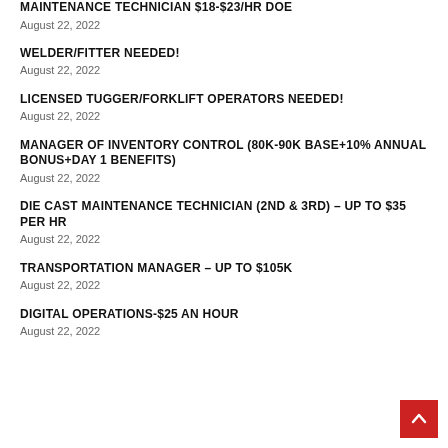MAINTENANCE TECHNICIAN $18-$23/HR DOE
August 22, 2022
WELDER/FITTER NEEDED!
August 22, 2022
LICENSED TUGGER/FORKLIFT OPERATORS NEEDED!
August 22, 2022
MANAGER OF INVENTORY CONTROL (80K-90K BASE+10% ANNUAL BONUS+DAY 1 BENEFITS)
August 22, 2022
DIE CAST MAINTENANCE TECHNICIAN (2ND & 3RD) – UP TO $35 PER HR
August 22, 2022
TRANSPORTATION MANAGER – UP TO $105K
August 22, 2022
DIGITAL OPERATIONS-$25 AN HOUR
August 22, 2022